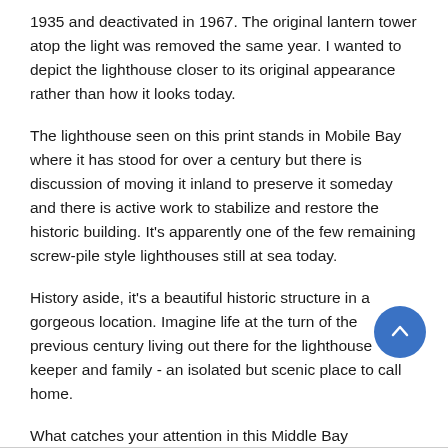1935 and deactivated in 1967. The original lantern tower atop the light was removed the same year. I wanted to depict the lighthouse closer to its original appearance rather than how it looks today.
The lighthouse seen on this print stands in Mobile Bay where it has stood for over a century but there is discussion of moving it inland to preserve it someday and there is active work to stabilize and restore the historic building. It's apparently one of the few remaining screw-pile style lighthouses still at sea today.
History aside, it's a beautiful historic structure in a gorgeous location. Imagine life at the turn of the previous century living out there for the lighthouse keeper and family - an isolated but scenic place to call home.
What catches your attention in this Middle Bay Lighthouse metal print?